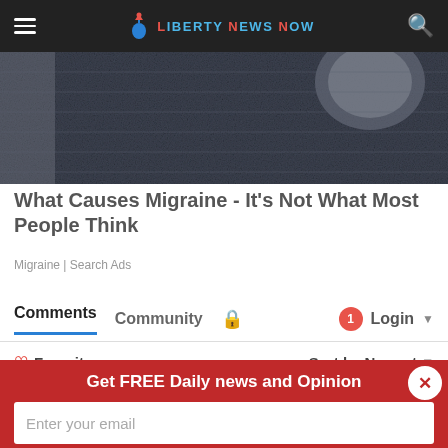Liberty News Now
[Figure (photo): Close-up of dark knit textile fabric, grayscale]
What Causes Migraine - It's Not What Most People Think
Migraine | Search Ads
Comments  Community  🔒  1  Login ▾
♡ Favorite   Sort by Newest ▾
Get FREE Daily news and Opinion
Enter your email
Subscribe